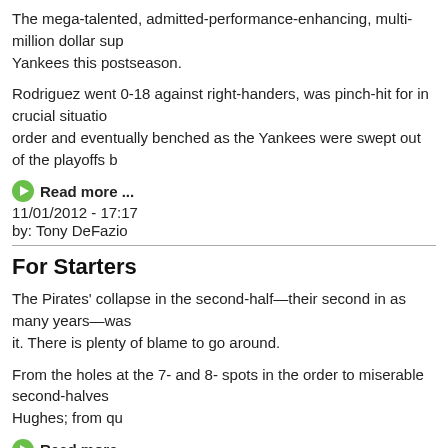The mega-talented, admitted-performance-enhancing, multi-million dollar sup... Yankees this postseason.
Rodriguez went 0-18 against right-handers, was pinch-hit for in crucial situatio... order and eventually benched as the Yankees were swept out of the playoffs b...
Read more ...
11/01/2012 - 17:17
by: Tony DeFazio
For Starters
The Pirates' collapse in the second-half—their second in as many years—was... it. There is plenty of blame to go around.
From the holes at the 7- and 8- spots in the order to miserable second-halves... Hughes; from qu
Read more ...
09/30/2012 - 14:03
by: Tony DeFazio
No Time for Fairness